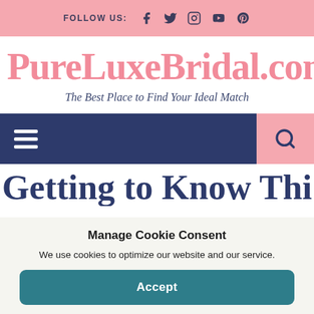FOLLOW US: [Facebook] [Twitter] [Instagram] [YouTube] [Pinterest]
PureLuxeBridal.com
The Best Place to Find Your Ideal Match
[Figure (screenshot): Navigation bar with hamburger menu icon on left and pink search icon box on right]
Getting to Know Thi
Manage Cookie Consent
We use cookies to optimize our website and our service.
Accept